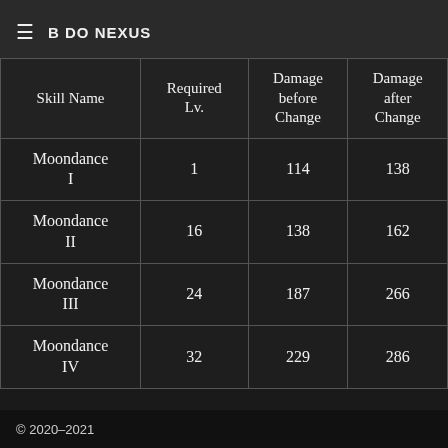≡  BDO NEXUS
| Skill Name | Required Lv. | Damage before Change | Damage after Change |
| --- | --- | --- | --- |
| Moondance I | 1 | 114 | 138 |
| Moondance II | 16 | 138 | 162 |
| Moondance III | 24 | 187 | 266 |
| Moondance IV | 32 | 229 | 286 |
© 2020–2021